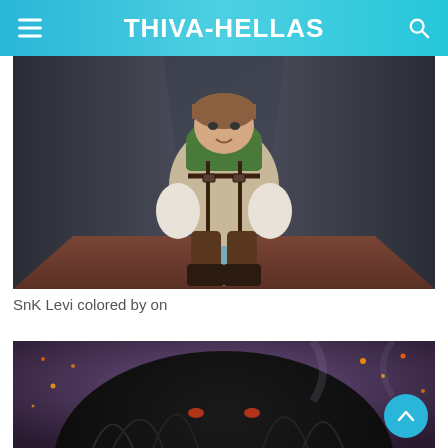THIVA-HELLAS
[Figure (illustration): Anime illustration of SnK Levi character colored, crouching pose with green scarf, brown leather outfit with fur trim, dark metallic background]
SnK Levi colored by on
[Figure (illustration): Close-up anime illustration showing dark hair with glowing ember/spark particles in a purple smoky background]